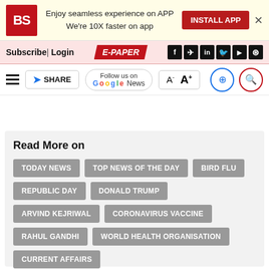[Figure (screenshot): Business Standard website header with app install banner showing BS logo, 'Enjoy seamless experience on APP / We're 10X faster on app' text, and INSTALL APP button]
Subscribe| Login   E-PAPER
Follow us on Google News   A- A+
Read More on
TODAY NEWS
TOP NEWS OF THE DAY
BIRD FLU
REPUBLIC DAY
DONALD TRUMP
ARVIND KEJRIWAL
CORONAVIRUS VACCINE
RAHUL GANDHI
WORLD HEALTH ORGANISATION
CURRENT AFFAIRS